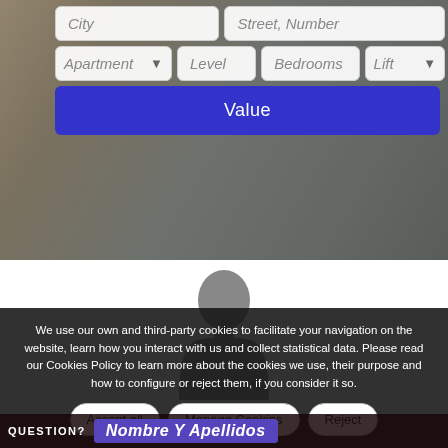[Figure (screenshot): Web application form UI with fields: City, Street Number, Apartment dropdown, Level, Bedrooms, Lift dropdown, and a blue Value button, overlaid on a blurred interior photo background]
[Figure (illustration): Gray silhouette of a person (head and upper body) on white background]
We use our own and third-party cookies to facilitate your navigation on the website, learn how you interact with us and collect statistical data. Please read our Cookies Policy to learn more about the cookies we use, their purpose and how to configure or reject them, if you consider it so.
Accept all
Manage Cookies
Reject
QUESTION?
Nombre Y Apellidos